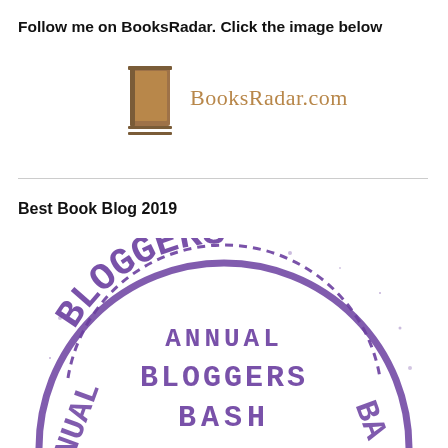Follow me on BooksRadar. Click the image below
[Figure (logo): BooksRadar.com logo with a book icon and the text BooksRadar.com in brown/tan color]
Best Book Blog 2019
[Figure (illustration): Circular stamp-style badge in purple for Annual Bloggers Bash, with text BLOGGERS arching at top, ANNUAL BLOGGERS BASH in the center, and NUAL and BA visible on the sides as the circle extends beyond the page]